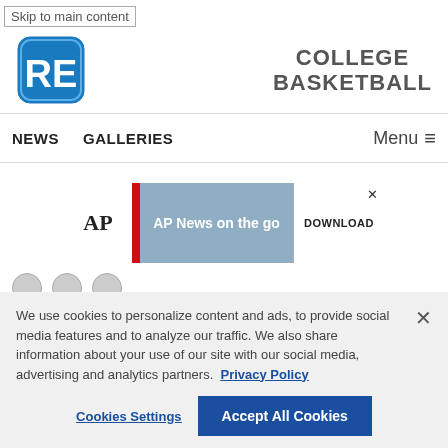Skip to main content
RE logo — COLLEGE BASKETBALL
NEWS   GALLERIES   Menu
[Figure (screenshot): AP News on the go advertisement banner with download button]
We use cookies to personalize content and ads, to provide social media features and to analyze our traffic. We also share information about your use of our site with our social media, advertising and analytics partners. Privacy Policy
Cookies Settings   Accept All Cookies